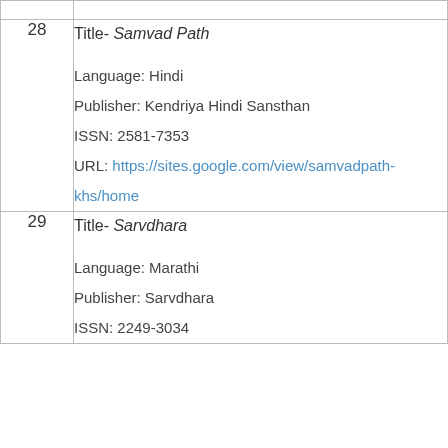| # | Details |
| --- | --- |
| 28 | Title- Samvad Path

Language: Hindi
Publisher: Kendriya Hindi Sansthan
ISSN: 2581-7353
URL: https://sites.google.com/view/samvadpath-khs/home |
| 29 | Title- Sarvdhara

Language: Marathi
Publisher: Sarvdhara
ISSN: 2249-3034 |